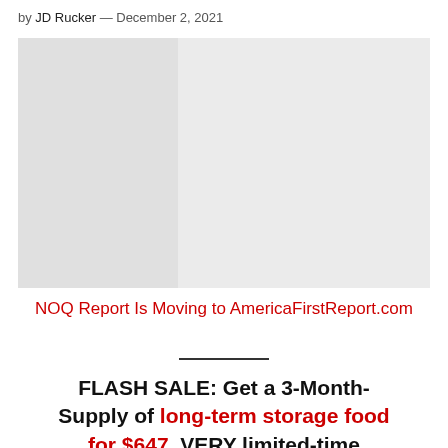by JD Rucker — December 2, 2021
[Figure (photo): Placeholder image with light gray background, split into two tones — darker gray on left third, lighter gray on right two-thirds]
NOQ Report Is Moving to AmericaFirstReport.com
FLASH SALE: Get a 3-Month-Supply of long-term storage food for $647. VERY limited-time